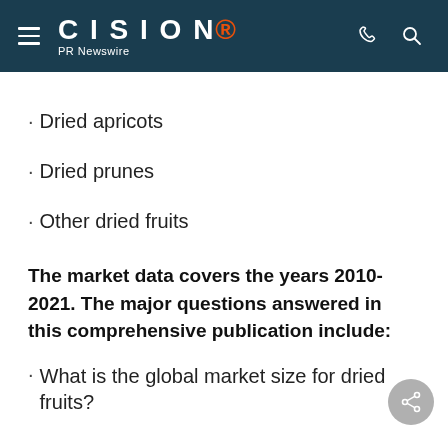CISION PR Newswire
Dried apricots
Dried prunes
Other dried fruits
The market data covers the years 2010-2021. The major questions answered in this comprehensive publication include:
What is the global market size for dried fruits?